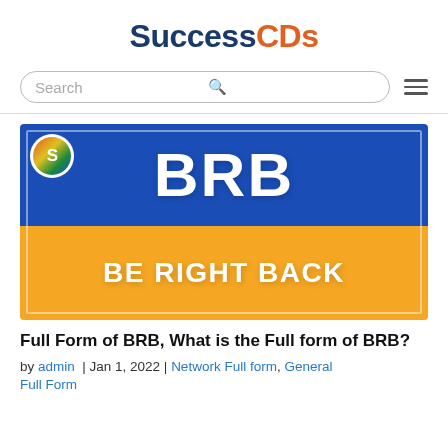SuccessCDs
[Figure (screenshot): Search bar with magnifying glass icon and hamburger menu icon]
[Figure (illustration): BRB - BE RIGHT BACK banner image with blue top half showing 'BRB' in white bold text and orange bottom half showing 'BE RIGHT BACK' in white bold text, with SuccessCDs logo badge in top-left corner]
Full Form of BRB, What is the Full form of BRB?
by admin | Jan 1, 2022 | Network Full form, General Full Form